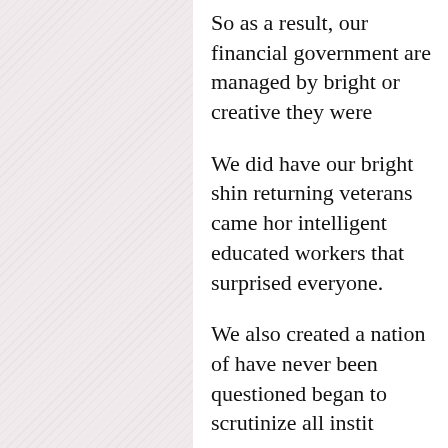So as a result, our financial government are managed by bright or creative they were
We did have our bright shin returning veterans came hor intelligent educated workers that surprised everyone.
We also created a nation of have never been questioned began to scrutinize all instit
We created the mechanisms everyone and to create a jus
And then a funny thing happ what we had become. The r